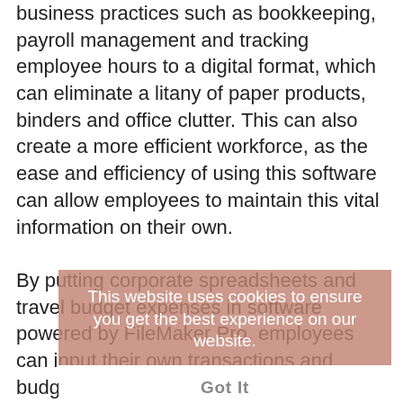business practices such as bookkeeping, payroll management and tracking employee hours to a digital format, which can eliminate a litany of paper products, binders and office clutter. This can also create a more efficient workforce, as the ease and efficiency of using this software can allow employees to maintain this vital information on their own.

By putting corporate spreadsheets and travel budget expenses in software powered by FileMaker Pro, employees can input their own transactions and budget figures without needing to accost accountants with receipts. In addition, this information can be shared almost instantly with managers and executives.

Furthermore, this software can eliminate the need for creating unnecessary paper documents for meetings and internal
This website uses cookies to ensure you get the best experience on our website.

Got It